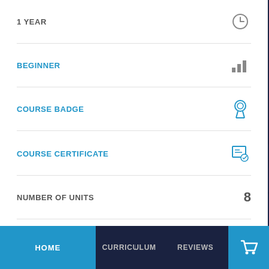1 YEAR
BEGINNER
COURSE BADGE
COURSE CERTIFICATE
NUMBER OF UNITS  8
NUMBER OF QUIZZES  0
4 HOURS, 54 MINUTES
Social share icons: Facebook, Twitter, Google, LinkedIn
HOME   CURRICULUM   REVIEWS